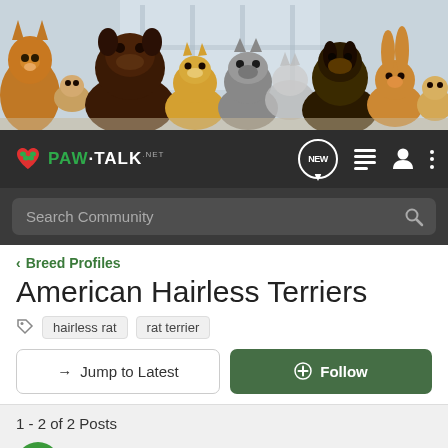[Figure (photo): Banner photo of various pets including dogs (chocolate lab, corgi, French bulldog, German shepherd), cats, rabbits, hamster, and other small animals grouped together]
PAW·TALK .net — NEW — navigation icons
Search Community
< Breed Profiles
American Hairless Terriers
hairless rat   rat terrier
→ Jump to Latest
+ Follow
1 - 2 of 2 Posts
Guest·